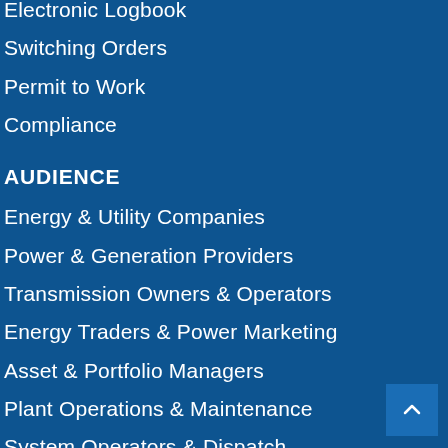Electronic Logbook
Switching Orders
Permit to Work
Compliance
AUDIENCE
Energy & Utility Companies
Power & Generation Providers
Transmission Owners & Operators
Energy Traders & Power Marketing
Asset & Portfolio Managers
Plant Operations & Maintenance
System Operators & Dispatch
Compliance & Risk Management